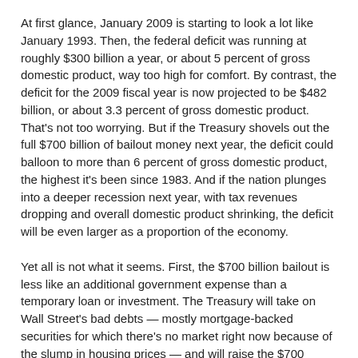At first glance, January 2009 is starting to look a lot like January 1993. Then, the federal deficit was running at roughly $300 billion a year, or about 5 percent of gross domestic product, way too high for comfort. By contrast, the deficit for the 2009 fiscal year is now projected to be $482 billion, or about 3.3 percent of gross domestic product. That's not too worrying. But if the Treasury shovels out the full $700 billion of bailout money next year, the deficit could balloon to more than 6 percent of gross domestic product, the highest it's been since 1983. And if the nation plunges into a deeper recession next year, with tax revenues dropping and overall domestic product shrinking, the deficit will be even larger as a proportion of the economy.
Yet all is not what it seems. First, the $700 billion bailout is less like an additional government expense than a temporary loan or investment. The Treasury will take on Wall Street's bad debts — mostly mortgage-backed securities for which there's no market right now because of the slump in housing prices — and will raise the $700 billion by issuing additional government debt, much of it to global lenders and foreign